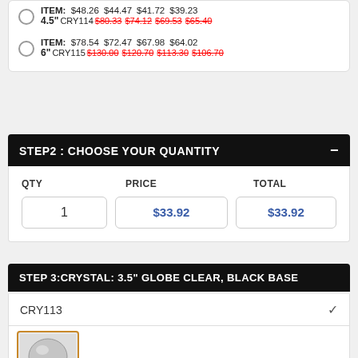|  | Size | Item/CRY Prices |  |  |  |
| --- | --- | --- | --- | --- | --- |
| ○ | 4.5" | ITEM: $48.26 $44.47 $41.72 $39.23 |  |  |  |
|  |  | CRY114 $80.33 $74.12 $69.53 $65.40 |  |  |  |
| ○ | 6" | ITEM: $78.54 $72.47 $67.98 $64.02 |  |  |  |
|  |  | CRY115 $130.00 $120.70 $113.30 $106.70 |  |  |  |
STEP2 : CHOOSE YOUR QUANTITY
| QTY | PRICE | TOTAL |
| --- | --- | --- |
| 1 | $33.92 | $33.92 |
STEP 3:CRYSTAL: 3.5" GLOBE CLEAR, BLACK BASE
CRY113
[Figure (photo): Crystal ball globe product thumbnail image]